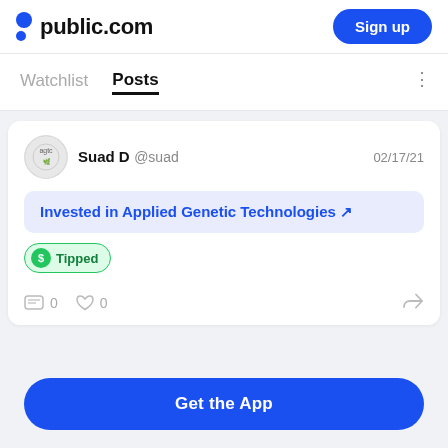public.com — Sign up
Watchlist   Posts
Suad D @suad   02/17/21
Invested in Applied Genetic Technologies ↗
Tipped
0   0
Get the App